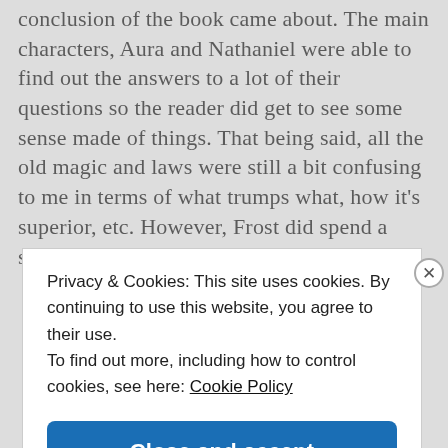conclusion of the book came about. The main characters, Aura and Nathaniel were able to find out the answers to a lot of their questions so the reader did get to see some sense made of things. That being said, all the old magic and laws were still a bit confusing to me in terms of what trumps what, how it's superior, etc. However, Frost did spend a significant amount
Privacy & Cookies: This site uses cookies. By continuing to use this website, you agree to their use.
To find out more, including how to control cookies, see here: Cookie Policy
Close and accept